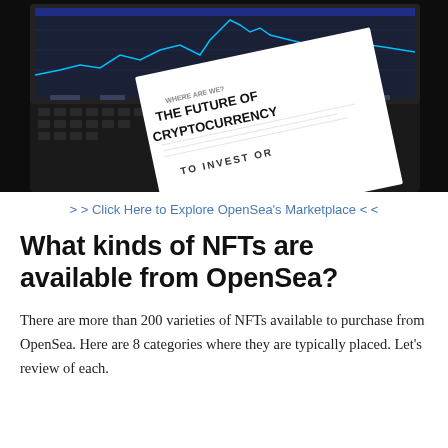[Figure (photo): A dark background photo showing a laptop with a cryptocurrency trading chart on the screen, and a white document in the foreground with text reading 'THE FUTURE OF CRYPTOCURRENCY' and 'TO INVEST OR...' on it.]
> > Click Here to Explore OpenSea's Marketplace < <
What kinds of NFTs are available from OpenSea?
There are more than 200 varieties of NFTs available to purchase from OpenSea. Here are 8 categories where they are typically placed. Let's review of each.